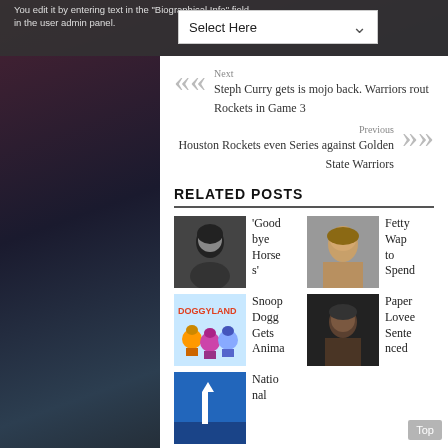You edit it by entering text in the "Biographical Info" field in the user admin panel.
Select Here
Next
Steph Curry gets is mojo back. Warriors rout Rockets in Game 3
Previous
Houston Rockets even Series against Golden State Warriors
RELATED POSTS
'Goodbye Horses'
Fetty Wap to Spend
Snoop Dogg Gets Anima
Paper Lovee Sentenced
National